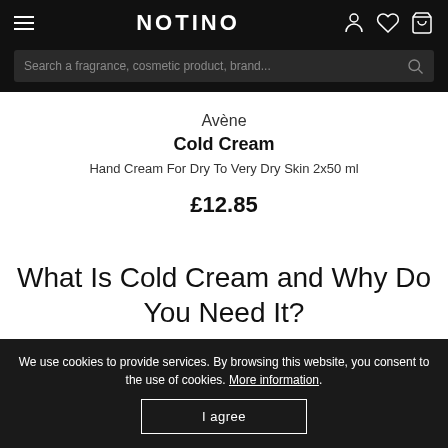NOTINO
Search a fragrance, cosmetic product, brand...
Avène
Cold Cream
Hand Cream For Dry To Very Dry Skin 2x50 ml
£12.85
What Is Cold Cream and Why Do You Need It?
We use cookies to provide services. By browsing this website, you consent to the use of cookies. More information.